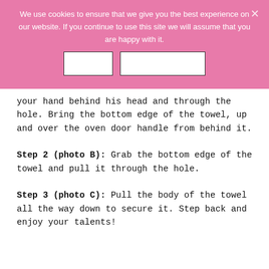We use cookies to ensure that we give you the best experience on our website. If you continue to use this site we will assume that you are happy with it.
your hand behind his head and through the hole. Bring the bottom edge of the towel, up and over the oven door handle from behind it.
Step 2 (photo B): Grab the bottom edge of the towel and pull it through the hole.
Step 3 (photo C): Pull the body of the towel all the way down to secure it. Step back and enjoy your talents!